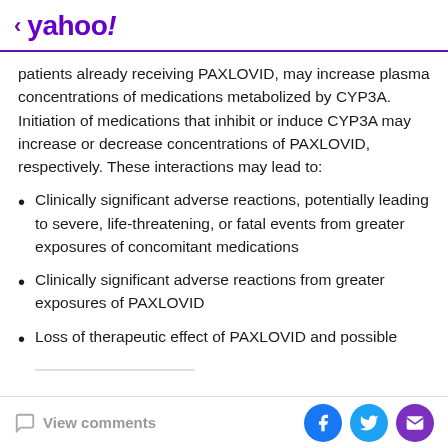< yahoo!
patients already receiving PAXLOVID, may increase plasma concentrations of medications metabolized by CYP3A. Initiation of medications that inhibit or induce CYP3A may increase or decrease concentrations of PAXLOVID, respectively. These interactions may lead to:
Clinically significant adverse reactions, potentially leading to severe, life-threatening, or fatal events from greater exposures of concomitant medications
Clinically significant adverse reactions from greater exposures of PAXLOVID
Loss of therapeutic effect of PAXLOVID and possible development of viral resistance
View comments